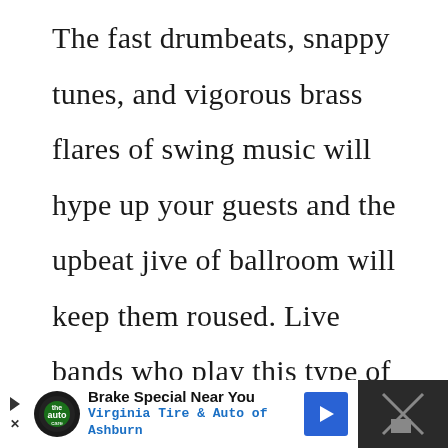The fast drumbeats, snappy tunes, and vigorous brass flares of swing music will hype up your guests and the upbeat jive of ballroom will keep them roused. Live bands who play this type of genre can easily play both styles so you can spread the word to your old-timers and modern-day hipster uncles that they need to dust
[Figure (other): Advertisement banner at bottom: Brake Special Near You - Virginia Tire & Auto of Ashburn, with logo and navigation arrow button]